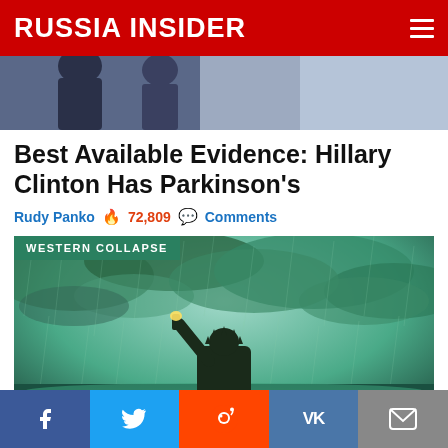RUSSIA INSIDER
[Figure (photo): Partial photo of two people in dark clothing, top crop of a news article image]
Best Available Evidence: Hillary Clinton Has Parkinson's
Rudy Panko  🔥 72,809  💬 Comments
[Figure (photo): Dramatic green-tinted image of the Statue of Liberty submerged in rising water during a storm, with dark clouds. Category badge reads WESTERN COLLAPSE]
[Figure (infographic): Social sharing bar with Facebook, Twitter, Reddit, VK, and Email buttons]